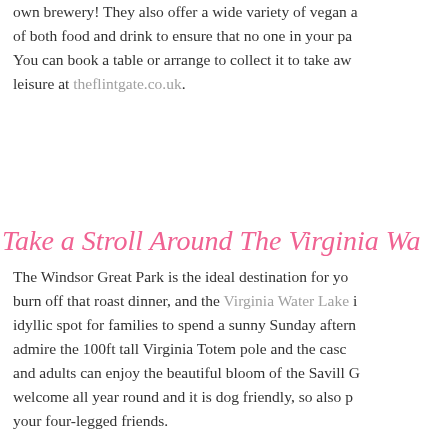own brewery! They also offer a wide variety of vegan a... of both food and drink to ensure that no one in your pa... You can book a table or arrange to collect it to take awa... leisure at theflintgate.co.uk.
Take a Stroll Around The Virginia Wa...
The Windsor Great Park is the ideal destination for you... burn off that roast dinner, and the Virginia Water Lake i... idyllic spot for families to spend a sunny Sunday aftern... admire the 100ft tall Virginia Totem pole and the casca... and adults can enjoy the beautiful bloom of the Savill G... welcome all year round and it is dog friendly, so also pe... your four-legged friends.
Take it up a Gear at Mercedes-Benz W...
Sundays don't just have to be about leisure. Why not u... increase the pace a little with a driving experience at M... Under 17's can get behind the wheel with a profession...